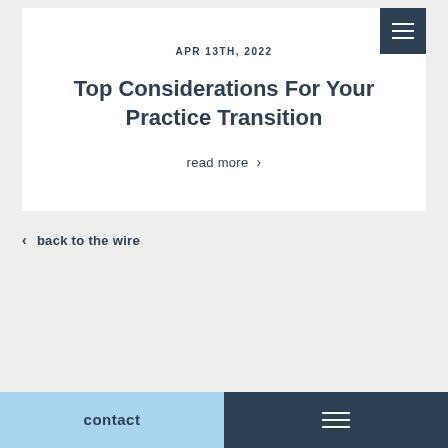APR 13TH, 2022
Top Considerations For Your Practice Transition
read more >
< back to the wire
contact